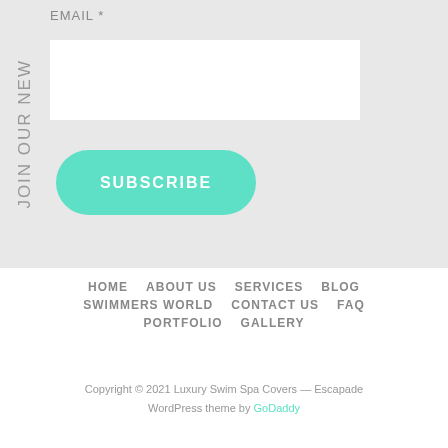JOIN OUR NEW
EMAIL *
SUBSCRIBE
HOME     ABOUT US     SERVICES     BLOG     SWIMMERS WORLD     CONTACT US     FAQ     PORTFOLIO     GALLERY
Copyright © 2021 Luxury Swim Spa Covers — Escapade WordPress theme by GoDaddy